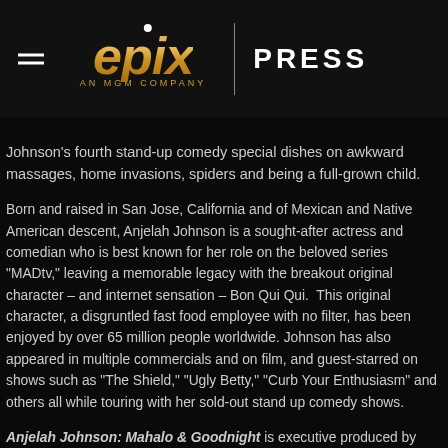[Figure (logo): EPIX press logo with hamburger menu icon. Gold italic 'epix' text with dot above 'i', subtitle 'AN MGM COMPANY', vertical divider line, and 'PRESS' text in white on dark background.]
Johnson's fourth stand-up comedy special dishes on awkward massages, home invasions, spiders and being a full-grown child.
Born and raised in San Jose, California and of Mexican and Native American descent, Anjelah Johnson is a sought-after actress and comedian who is best known for her role on the beloved series "MADtv," leaving a memorable legacy with the breakout original character – and internet sensation – Bon Qui Qui.  This original character, a disgruntled fast food employee with no filter, has been enjoyed by over 65 million people worldwide. Johnson has also appeared in multiple commercials and on film, and guest-starred on shows such as "The Shield," "Ugly Betty," "Curb Your Enthusiasm" and others all while touring with her sold-out stand up comedy shows.
Anjelah Johnson: Mahalo & Goodnight is executive produced by Anjelah Johnson, Dave Rath, Brian Volk-Weiss, Cisco Henson,